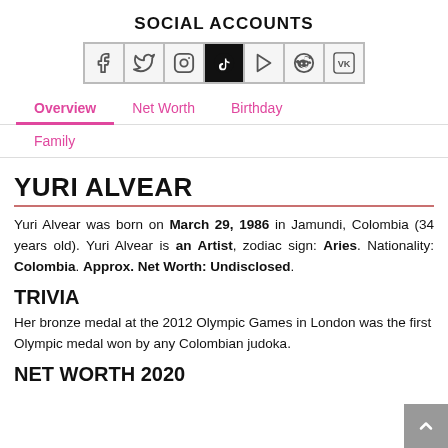SOCIAL ACCOUNTS
[Figure (infographic): Row of 7 social media icon buttons: Facebook, Twitter, Instagram, TikTok (active/black), YouTube, Reddit, VK]
Overview   Net Worth   Birthday   Family
YURI ALVEAR
Yuri Alvear was born on March 29, 1986 in Jamundi, Colombia (34 years old). Yuri Alvear is an Artist, zodiac sign: Aries. Nationality: Colombia. Approx. Net Worth: Undisclosed.
TRIVIA
Her bronze medal at the 2012 Olympic Games in London was the first Olympic medal won by any Colombian judoka.
NET WORTH 2020